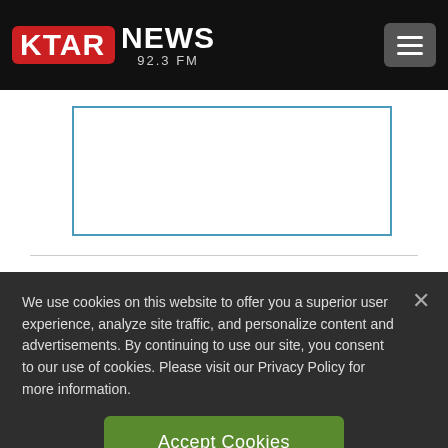[Figure (logo): KTAR NEWS 92.3 FM logo with red background for KTAR text and white NEWS text, with hamburger menu button on the right]
[Figure (other): Advertisement placeholder box with blue border]
Whoever it was, they smashed windows and
We use cookies on this website to offer you a superior user experience, analyze site traffic, and personalize content and advertisements. By continuing to use our site, you consent to our use of cookies. Please visit our Privacy Policy for more information.
Accept Cookies